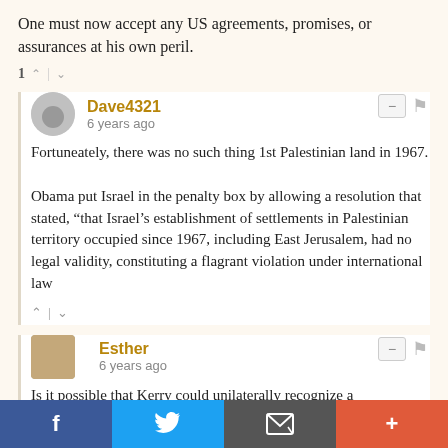One must now accept any US agreements, promises, or assurances at his own peril.
1 ↑ | ↓
Dave4321
6 years ago
Fortuneately, there was no such thing 1st Palestinian land in 1967.

Obama put Israel in the penalty box by allowing a resolution that stated, “that Israel’s establishment of settlements in Palestinian territory occupied since 1967, including East Jerusalem, had no legal validity, constituting a flagrant violation under international law
↑ | ↓
Esther
6 years ago
Is it possible that Kerry could unilaterally recognize a